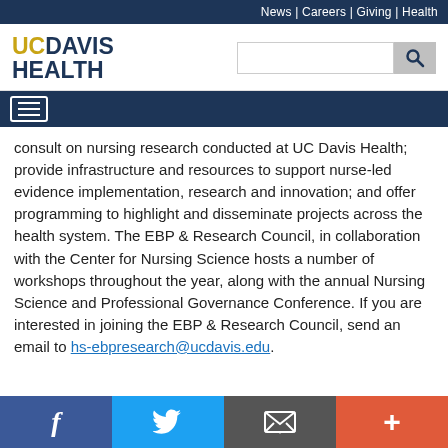News | Careers | Giving | Health
[Figure (logo): UC Davis Health logo with search bar]
[Figure (other): Hamburger navigation menu icon]
consult on nursing research conducted at UC Davis Health; provide infrastructure and resources to support nurse-led evidence implementation, research and innovation; and offer programming to highlight and disseminate projects across the health system. The EBP & Research Council, in collaboration with the Center for Nursing Science hosts a number of workshops throughout the year, along with the annual Nursing Science and Professional Governance Conference. If you are interested in joining the EBP & Research Council, send an email to hs-ebpresearch@ucdavis.edu.
f [Facebook] | [Twitter] | [Email] | +